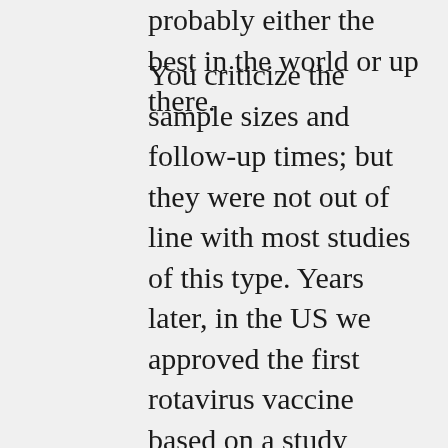probably either the best in the world or up there.
You criticize the sample sizes and follow-up times; but they were not out of line with most studies of this type. Years later, in the US we approved the first rotavirus vaccine based on a study sample of over 10,000 and on post-marketing surveillance a rare problem, intussusception, was found, so it was taken off the market. Until the next vaccine based on a sample of 72,000 was approved, each year several dozen children died and 10s of thousands were hospitalized to prevent a dozen or so cases of intussusception and one possible death. I'm sure you approve.
You claim to NOT be an antivaccinationists; yet I asked you, not only in this exchange, but numerous others to simply state something like: "Based on my understanding several decades ago an MMR vaccine containing a strain of the mumps called Urabe was associated with unacceptable adverse events and I believe this could have been avoided if the decision process